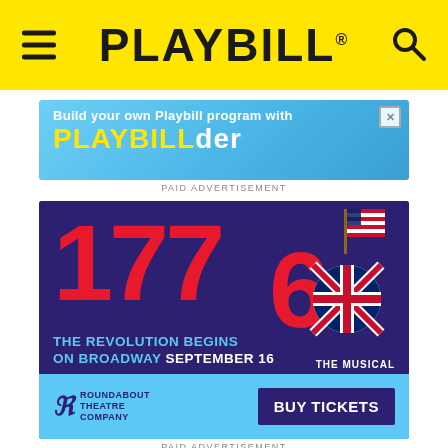PLAYBILL
[Figure (infographic): Playbillder advertisement banner: 'Build your own Playbill program with PLAYBILLder']
PAID ADVERTISEMENT
[Figure (infographic): 1776 The Musical Broadway advertisement. Large red '1776' text on dark purple background with American and British flags. Text: 'THE REVOLUTION BEGINS ON BROADWAY SEPTEMBER 16'. Roundabout Theatre Company logo and BUY TICKETS button.]
PAID ADVERTISEMENT
Cardle, who won "The X Factor" in front of a TV audience